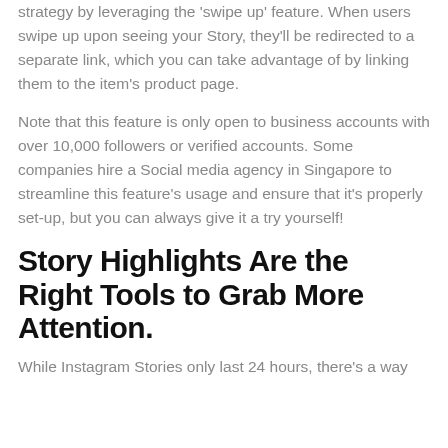strategy by leveraging the 'swipe up' feature. When users swipe up upon seeing your Story, they'll be redirected to a separate link, which you can take advantage of by linking them to the item's product page.
Note that this feature is only open to business accounts with over 10,000 followers or verified accounts. Some companies hire a Social media agency in Singapore to streamline this feature's usage and ensure that it's properly set-up, but you can always give it a try yourself!
Story Highlights Are the Right Tools to Grab More Attention.
While Instagram Stories only last 24 hours, there's a way